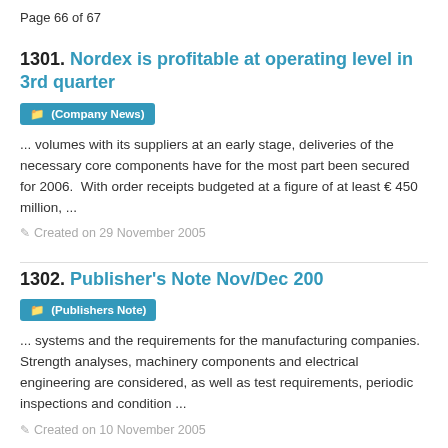Page 66 of 67
1301. Nordex is profitable at operating level in 3rd quarter
(Company News)
... volumes with its suppliers at an early stage, deliveries of the necessary core components have for the most part been secured for 2006.  With order receipts budgeted at a figure of at least € 450 million, ...
Created on 29 November 2005
1302. Publisher's Note Nov/Dec 200
(Publishers Note)
... systems and the requirements for the manufacturing companies. Strength analyses, machinery components and electrical engineering are considered, as well as test requirements, periodic inspections and condition ...
Created on 10 November 2005